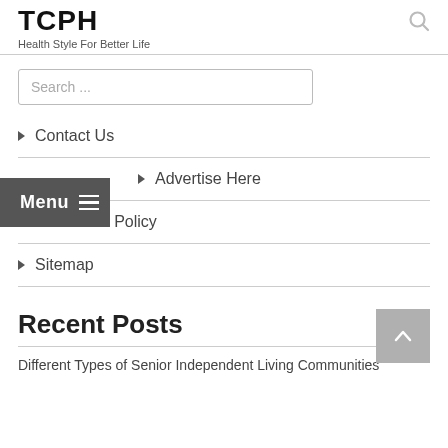TCPH
Health Style For Better Life
Search ...
Contact Us
Advertise Here
Disclosure Policy
Sitemap
Recent Posts
Different Types of Senior Independent Living Communities